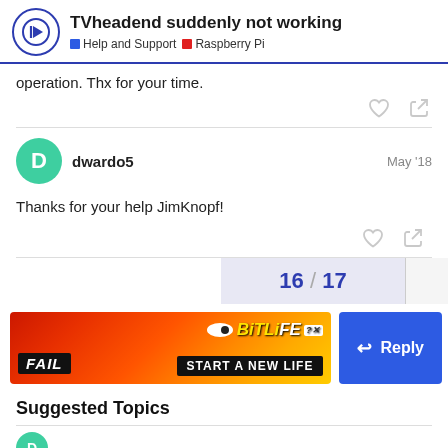TVheadend suddenly not working | Help and Support | Raspberry Pi
operation. Thx for your time.
dwardo5  May '18
Thanks for your help JimKnopf!
16 / 17
[Figure (screenshot): BitLife advertisement banner: FAIL text, animated character, START A NEW LIFE tagline]
Reply
Suggested Topics